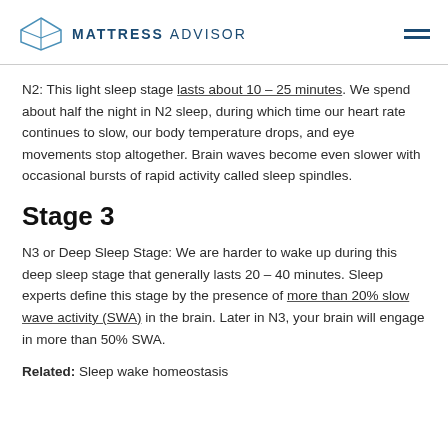MATTRESS ADVISOR
N2: This light sleep stage lasts about 10 – 25 minutes. We spend about half the night in N2 sleep, during which time our heart rate continues to slow, our body temperature drops, and eye movements stop altogether. Brain waves become even slower with occasional bursts of rapid activity called sleep spindles.
Stage 3
N3 or Deep Sleep Stage: We are harder to wake up during this deep sleep stage that generally lasts 20 – 40 minutes. Sleep experts define this stage by the presence of more than 20% slow wave activity (SWA) in the brain. Later in N3, your brain will engage in more than 50% SWA.
Related: Sleep wake homeostasis